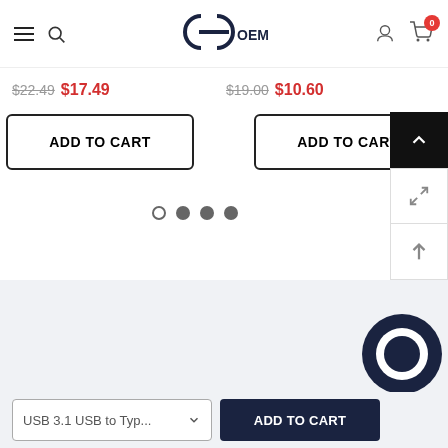GC OEM logo header with hamburger menu, search, user icon, cart (0)
$22.49 (strikethrough) $17.49 (red) | $19.00 (strikethrough) $10.60 (red)
ADD TO CART | ADD TO CART
[Figure (other): Carousel navigation dots: one empty circle and three filled gray dots]
USB 3.1 USB to Typ... dropdown | ADD TO CART button